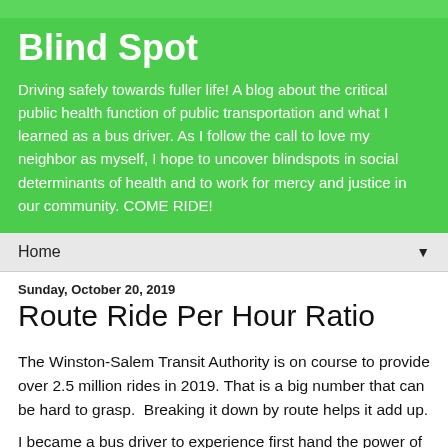Blind Spot
Driving safely towards fuller life! A blog about the critical public health function of public transportation and what I learned as a bus driver. As I follow the call to love my neighbor as myself, I hope to uncover blindspots in social determinants of health and to work for mercy and justice in our community. COME RIDE!
Home ▼
Sunday, October 20, 2019
Route Ride Per Hour Ratio
The Winston-Salem Transit Authority is on course to provide over 2.5 million rides in 2019. That is a big number that can be hard to grasp.  Breaking it down by route helps it add up.
I became a bus driver to experience first hand the power of